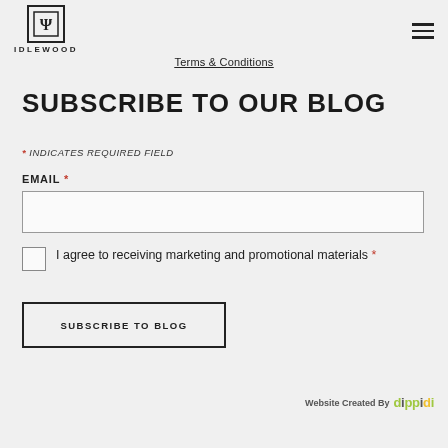IDLEWOOD
Terms & Conditions
SUBSCRIBE TO OUR BLOG
* INDICATES REQUIRED FIELD
EMAIL *
I agree to receiving marketing and promotional materials *
SUBSCRIBE TO BLOG
Website Created By dippidi